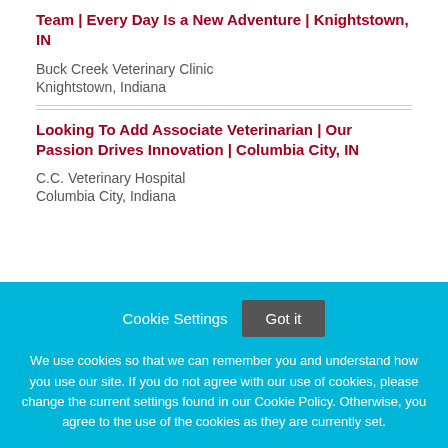Team | Every Day Is a New Adventure | Knightstown, IN
Buck Creek Veterinary Clinic
Knightstown, Indiana
Looking To Add Associate Veterinarian | Our Passion Drives Innovation | Columbia City, IN
C.C. Veterinary Hospital
Columbia City, Indiana
Cookie Settings  Got it
We use cookies so that we can remember you and understand how you use our site. If you do not agree with our use of cookies, please change the current settings found in our Cookie Policy. Otherwise, you agree to the use of the cookies as they are currently set.